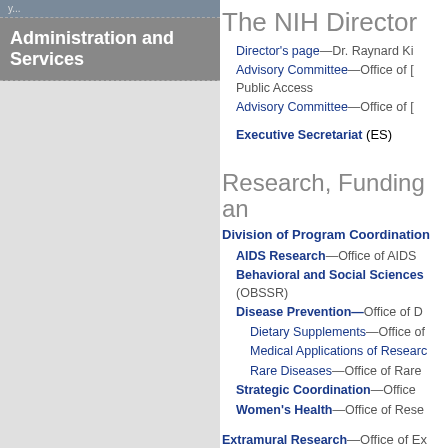Administration and Services
The NIH Director
Director's page—Dr. Raynard Ki
Advisory Committee—Office of [Director] Public Access
Advisory Committee—Office of [Director]
Executive Secretariat (ES)
Research, Funding an
Division of Program Coordination
AIDS Research—Office of AIDS
Behavioral and Social Sciences (OBSSR)
Disease Prevention—Office of D
Dietary Supplements—Office of
Medical Applications of Research
Rare Diseases—Office of Rare
Strategic Coordination—Office
Women's Health—Office of Rese
Extramural Research—Office of Ex